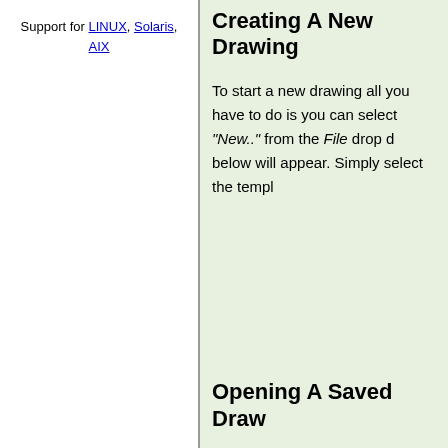Support for LINUX, Solaris, AIX
Creating A New Drawing
To start a new drawing all you have to do is you can select "New.." from the File drop down below will appear. Simply select the templ
Opening A Saved Draw